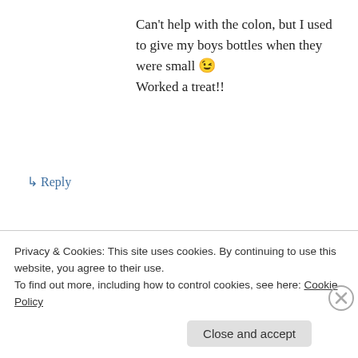Can't help with the colon, but I used to give my boys bottles when they were small 😉 Worked a treat!!
↳ Reply
Barmy Rootstock (IBMP) on April 8, 2012 at 12:46 pm
Please tell me you didn't do that in a 68 'ghia!
Privacy & Cookies: This site uses cookies. By continuing to use this website, you agree to their use.
To find out more, including how to control cookies, see here: Cookie Policy
Close and accept